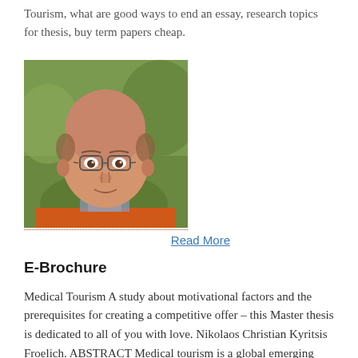Tourism, what are good ways to end an essay, research topics for thesis, buy term papers cheap.
[Figure (photo): Portrait photograph of a middle-aged bald man with glasses wearing an orange jacket, outdoors with green background]
Read More
E-Brochure
Medical Tourism A study about motivational factors and the prerequisites for creating a competitive offer – this Master thesis is dedicated to all of you with love. Nikolaos Christian Kyritsis Froelich. ABSTRACT Medical tourism is a global emerging